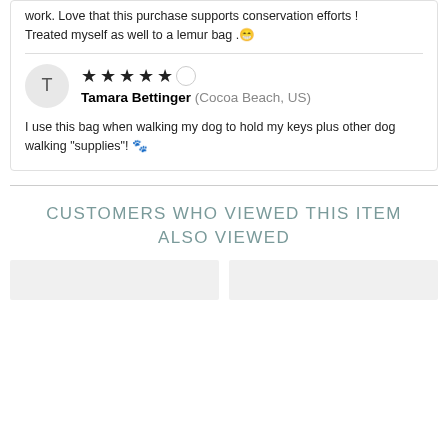work. Love that this purchase supports conservation efforts !
Treated myself as well to a lemur bag .😁
Tamara Bettinger (Cocoa Beach, US)
I use this bag when walking my dog to hold my keys plus other dog walking “supplies”! 🐾
CUSTOMERS WHO VIEWED THIS ITEM ALSO VIEWED